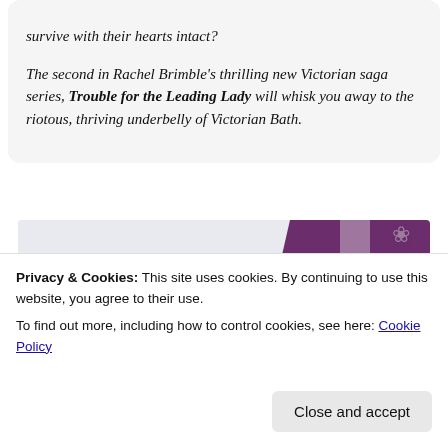survive with their hearts intact? The second in Rachel Brimble's thrilling new Victorian saga series, Trouble for the Leading Lady will whisk you away to the riotous, thriving underbelly of Victorian Bath.
[Figure (illustration): Book promotional image showing 'Trouble For The Leading Lady is OUT NOW - happy' text overlay on an image featuring purple curtains and a person in Victorian-era dress]
Privacy & Cookies: This site uses cookies. By continuing to use this website, you agree to their use.
To find out more, including how to control cookies, see here: Cookie Policy